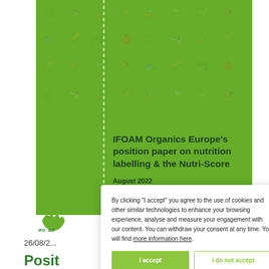[Figure (screenshot): Green cover of IFOAM Organics Europe position paper on nutrition labelling and the Nutri-Score, with decorative food icons pattern in background and a white dotted vertical line on the left side.]
IFOAM Organics Europe’s position paper on nutrition labelling & the Nutri-Score
August 2022
By clicking “I accept” you agree to the use of cookies and other similar technologies to enhance your browsing experience, analyse and measure your engagement with our content. You can withdraw your consent at any time. You will find more information here.
I accept
I do not accept
[Figure (logo): IFOAM Organics Europe logo, green with stylized leaf/person shape]
26/08/2...
Posit... ing &